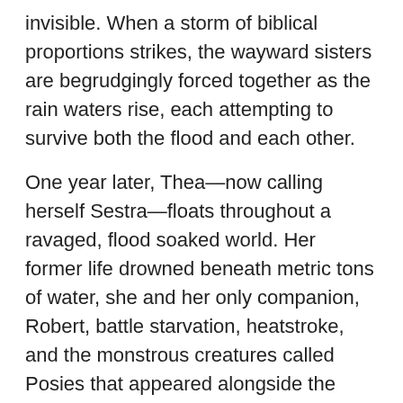invisible. When a storm of biblical proportions strikes, the wayward sisters are begrudgingly forced together as the rain waters rise, each attempting to survive both the flood and each other.
One year later, Thea—now calling herself Sestra—floats throughout a ravaged, flood soaked world. Her former life drowned beneath metric tons of water, she and her only companion, Robert, battle starvation, heatstroke, and the monstrous creatures called Posies that appeared alongside the flood. When they run across what they assume to be an abandoned tugboat, their journey takes a new turn, and the truth about the flood and the monsters seems more intricately linked to Thea's past then she may realize.